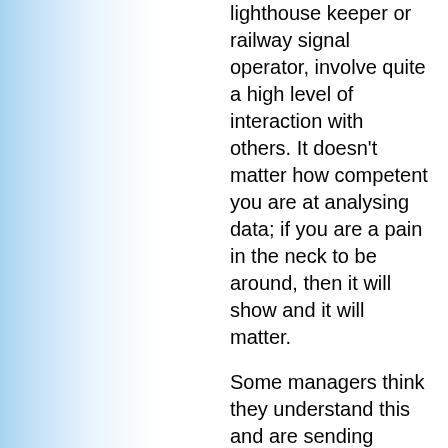lighthouse keeper or railway signal operator, involve quite a high level of interaction with others. It doesn’t matter how competent you are at analysing data; if you are a pain in the neck to be around, then it will show and it will matter.
Some managers think they understand this and are sending people on ‘team-building’ and ‘work/life balance’ courses. These phrases are becoming so over-used they are almost meaningless, and the reason for that is that although those that are in charge have got wind that ‘looking after your workforce’ is